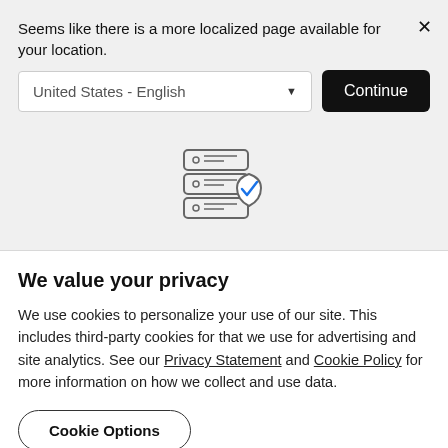Seems like there is a more localized page available for your location.
United States - English
Continue
[Figure (illustration): Icon of stacked server/database layers with a shield and blue checkmark overlay]
We value your privacy
We use cookies to personalize your use of our site. This includes third-party cookies for that we use for advertising and site analytics. See our Privacy Statement and Cookie Policy for more information on how we collect and use data.
Cookie Options
OK